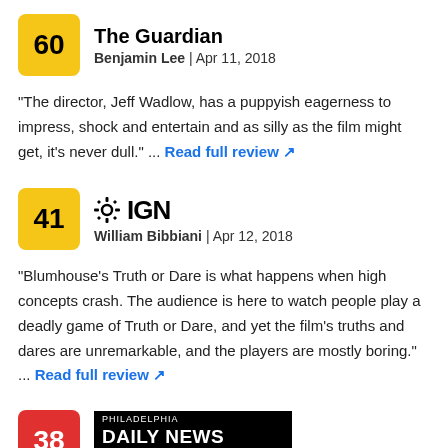[Figure (other): Review entry: Score badge 60 (yellow), source The Guardian, reviewer Benjamin Lee, Apr 11, 2018]
"The director, Jeff Wadlow, has a puppyish eagerness to impress, shock and entertain and as silly as the film might get, it's never dull." ... Read full review
[Figure (other): Review entry: Score badge 41 (yellow), source IGN logo with gear icon, reviewer William Bibbiani, Apr 12, 2018]
"Blumhouse’s Truth or Dare is what happens when high concepts crash. The audience is here to watch people play a deadly game of Truth or Dare, and yet the film’s truths and dares are unremarkable, and the players are mostly boring." ... Read full review
[Figure (other): Review entry: Score badge 38 (red), source Philadelphia Daily News logo, reviewer Gary Thompson, Apr 11, 2018]